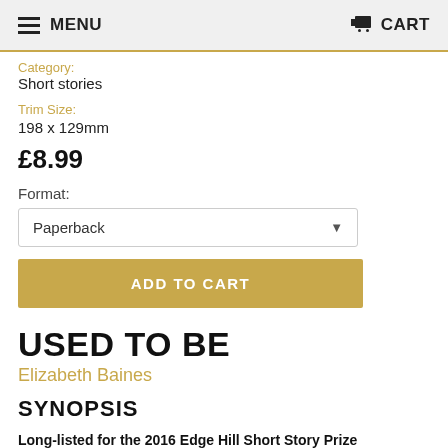MENU  CART
Category: Short stories
Trim Size: 198 x 129mm
£8.99
Format: Paperback
ADD TO CART
USED TO BE
Elizabeth Baines
SYNOPSIS
Long-listed for the 2016 Edge Hill Short Story Prize